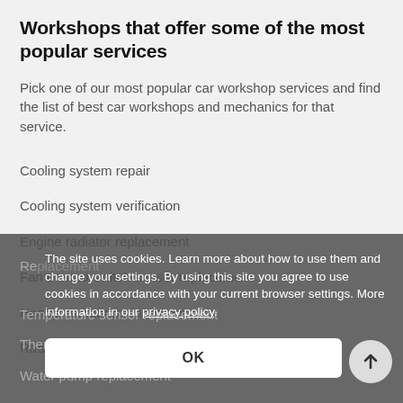Workshops that offer some of the most popular services
Pick one of our most popular car workshop services and find the list of best car workshops and mechanics for that service.
Cooling system repair
Cooling system verification
Engine radiator replacement
Fan thermo-switch/sensor replacement
Heater resistor replacement
Radiator fan coupling (visco) replacement
Radiator fan replacement
Re[obscured]
Temperature sensor replacement
Thermostat replacement
Water pump replacement
The site uses cookies. Learn more about how to use them and change your settings. By using this site you agree to use cookies in accordance with your current browser settings. More information in our privacy policy.